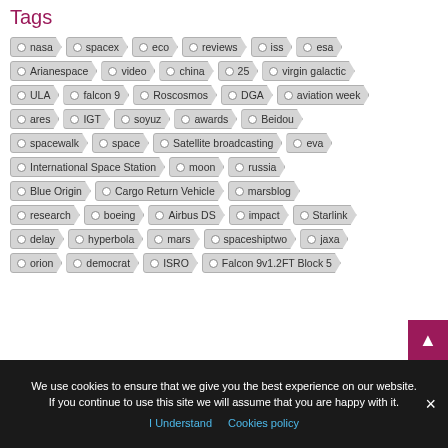Tags
nasa, spacex, eco, reviews, iss, esa
Arianespace, video, china, 25, virgin galactic
ULA, falcon 9, Roscosmos, DGA, aviation week
ares, IGT, soyuz, awards, Beidou
spacewalk, space, Satellite broadcasting, eva
International Space Station, moon, russia
Blue Origin, Cargo Return Vehicle, marsblog
research, boeing, Airbus DS, impact, Starlink
delay, hyperbola, mars, spaceshiptwo, jaxa
orion, democrat, ISRO, Falcon 9v1.2FT Block 5
We use cookies to ensure that we give you the best experience on our website. If you continue to use this site we will assume that you are happy with it.
I Understand   Cookies policy